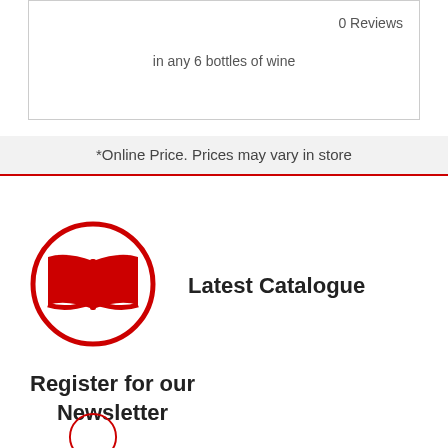0 Reviews
in any 6 bottles of wine
*Online Price. Prices may vary in store
[Figure (illustration): Red circle with open book icon representing Latest Catalogue]
Latest Catalogue
[Figure (illustration): Red circle with envelope/mail icon and notification badge showing number 1, with cart icon overlay, representing Register for our Newsletter]
Register for our Newsletter
[Figure (illustration): Partial red circle at bottom of page (third icon, cut off)]